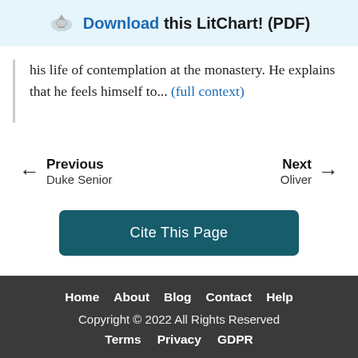Download this LitChart! (PDF)
his life of contemplation at the monastery. He explains that he feels himself to... (full context)
← Previous Duke Senior
Next → Oliver
Cite This Page
Home  About  Blog  Contact  Help
Copyright © 2022 All Rights Reserved
Terms  Privacy  GDPR